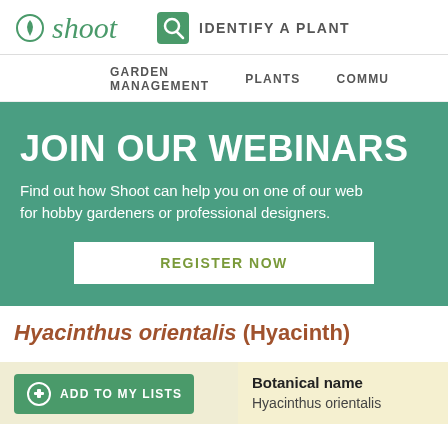shoot — IDENTIFY A PLANT
GARDEN MANAGEMENT  PLANTS  COMMU
JOIN OUR WEBINARS
Find out how Shoot can help you on one of our web for hobby gardeners or professional designers.
REGISTER NOW
Hyacinthus orientalis (Hyacinth)
ADD TO MY LISTS
Botanical name
Hyacinthus orientalis